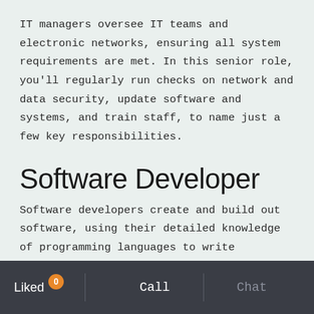IT managers oversee IT teams and electronic networks, ensuring all system requirements are met. In this senior role, you'll regularly run checks on network and data security, update software and systems, and train staff, to name just a few key responsibilities.
Software Developer
Software developers create and build out software, using their detailed knowledge of programming languages to write guidelines for programmers or even doing the coding themselves. As well as writing new
Liked 0   Call   Chat